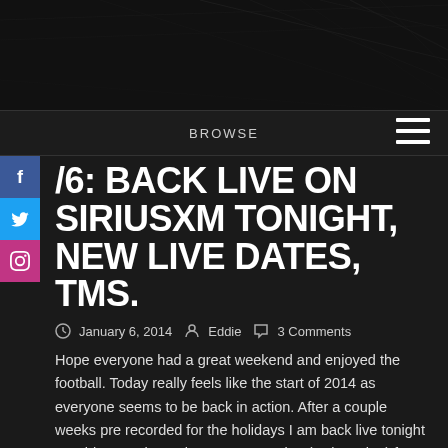[Figure (photo): Dark textured header background with scratched/grunge texture pattern]
BROWSE
/6: BACK LIVE ON SIRIUSXM TONIGHT, NEW LIVE DATES, TMS.
January 6, 2014   Eddie   3 Comments
Hope everyone had a great weekend and enjoyed the football. Today really feels like the start of 2014 as everyone seems to be back in action. After a couple weeks pre recorded for the holidays I am back live tonight on SiriusXM channel 39 TRUNKNation (Hair Nation) for the first Eddie Trunk Live of 2014. As usual the show will air live 6-10P ET/3-7 Pacific. Tons of stuff to cover and discuss so this first show back will feature